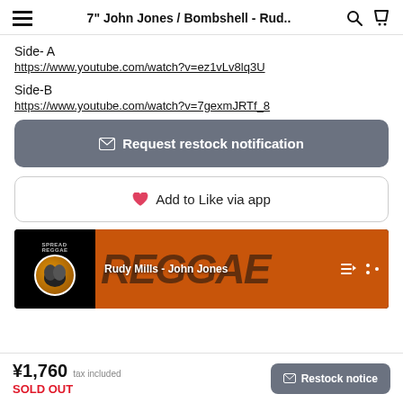7" John Jones / Bombshell - Rud..
Side- A
https://www.youtube.com/watch?v=ez1vLv8lq3U
Side-B
https://www.youtube.com/watch?v=7gexmJRTf_8
✉ Request restock notification
♥ Add to Like via app
[Figure (screenshot): YouTube music player thumbnail showing 'Rudy Mills - John Jones' with orange reggae background]
¥1,760 tax included
SOLD OUT
✉ Restock notice